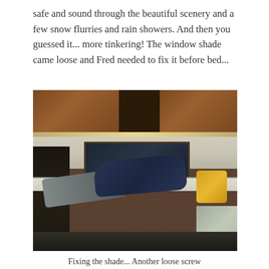safe and sound through the beautiful scenery and a few snow flurries and rain showers. And then you guessed it... more tinkering! The window shade came loose and Fred needed to fix it before bed...
[Figure (photo): Interior of an RV or motorhome. A person wearing a dark blue jacket and grey jeans is lying on their back on a counter/workspace, apparently fixing something above (the window shade). Wooden cabinets are visible at the top, with under-cabinet lighting. A TV or dark window is visible in the background. A yellow bag and other items are on the counter. The left side shows dark cabinetry.]
Fixing the shade... Another loose screw